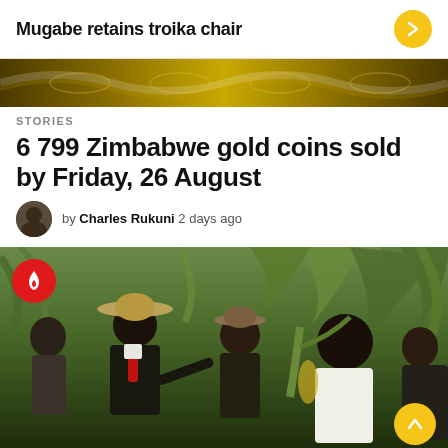Mugabe retains troika chair
[Figure (photo): Banner/decorative image strip with gold/dark patterned background]
STORIES
6 799 Zimbabwe gold coins sold by Friday, 26 August
by Charles Rukuni 2 days ago
[Figure (photo): Photo of several men in a cornfield, one wearing a wide-brimmed hat and red tie, gesturing toward maize plants. A red circle badge with flame icon overlays the top-left corner, and a yellow circle with up-arrow is at the bottom-right.]